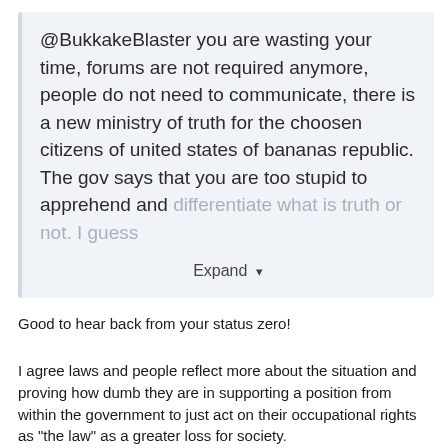@BukkakeBlaster you are wasting your time, forums are not required anymore, people do not need to communicate, there is a new ministry of truth for the choosen citizens of united states of bananas republic. The gov says that you are too stupid to apprehend and differentiate what is truth or not. I guess
Expand ▾
Good to hear back from your status zero!
I agree laws and people reflect more about the situation and proving how dumb they are in supporting a position from within the government to just act on their occupational rights as "the law" as a greater loss for society.